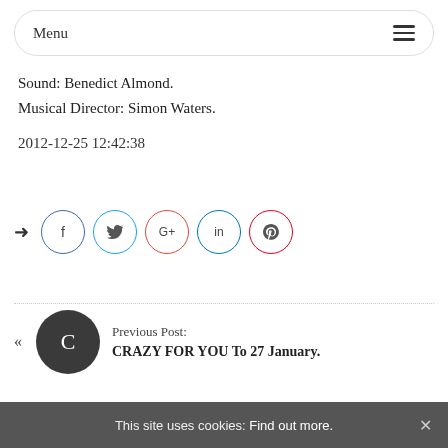Menu
Sound: Benedict Almond.
Musical Director: Simon Waters.
2012-12-25 12:42:38
[Figure (other): Social share icons row: share arrow, Facebook (f), Twitter (bird), Google+ (G+), LinkedIn (in), Pinterest (p) — each in a circle]
Previous Post: CRAZY FOR YOU To 27 January.
This site uses cookies: Find out more.